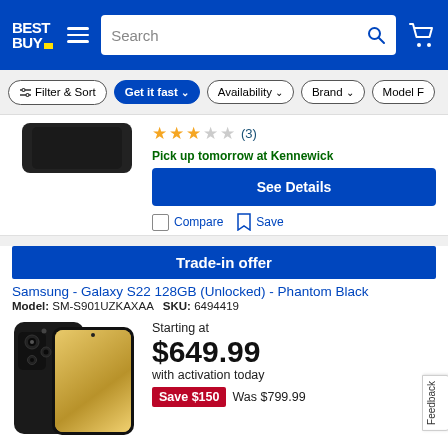[Figure (screenshot): Best Buy website header with logo, hamburger menu, search bar, and cart icon on blue background]
[Figure (screenshot): Filter bar with Filter & Sort, Get it fast (active), Availability, Brand, Model dropdowns]
[Figure (photo): Partially visible product image at top of page (dark device)]
⭐⭐⭐☆☆ (3)
Pick up tomorrow at Kennewick
See Details
Compare
Save
Trade-in offer
Samsung - Galaxy S22 128GB (Unlocked) - Phantom Black
Model: SM-S901UZKAXAA   SKU: 6494419
Starting at
$649.99
with activation today
Save $150   Was $799.99